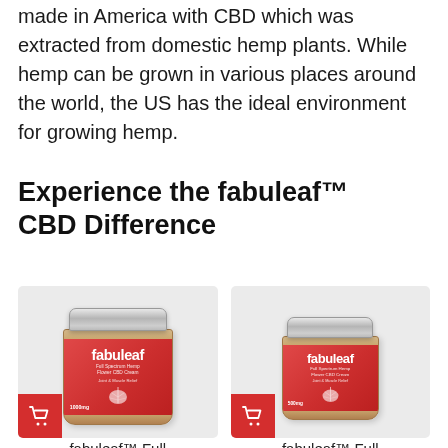made in America with CBD which was extracted from domestic hemp plants. While hemp can be grown in various places around the world, the US has the ideal environment for growing hemp.
Experience the fabuleaf™ CBD Difference
[Figure (photo): Two fabuleaf Full Spectrum Hemp Flower CBD Cream jars (1000mg and 500mg, Joint & Muscle Relief) displayed side by side in light gray product card boxes, each with a red shopping cart button in the bottom-left corner.]
fabuleaf™ Full
fabuleaf™ Full